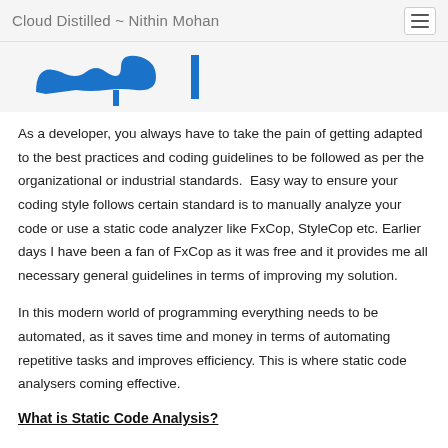Cloud Distilled ~ Nithin Mohan
[Figure (logo): Partial blue logo/icon visible at top of page content area]
As a developer, you always have to take the pain of getting adapted to the best practices and coding guidelines to be followed as per the organizational or industrial standards.  Easy way to ensure your coding style follows certain standard is to manually analyze your code or use a static code analyzer like FxCop, StyleCop etc. Earlier days I have been a fan of FxCop as it was free and it provides me all necessary general guidelines in terms of improving my solution.
In this modern world of programming everything needs to be automated, as it saves time and money in terms of automating repetitive tasks and improves efficiency. This is where static code analysers coming effective.
What is Static Code Analysis?